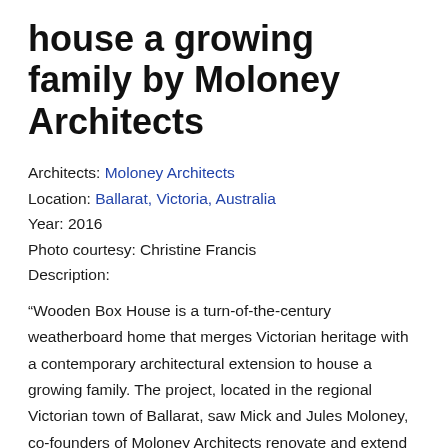house a growing family by Moloney Architects
Architects: Moloney Architects
Location: Ballarat, Victoria, Australia
Year: 2016
Photo courtesy: Christine Francis
Description:
“Wooden Box House is a turn-of-the-century weatherboard home that merges Victorian heritage with a contemporary architectural extension to house a growing family. The project, located in the regional Victorian town of Ballarat, saw Mick and Jules Moloney, co-founders of Moloney Architects renovate and extend the century-old residence to meet the changing needs of their family of five.